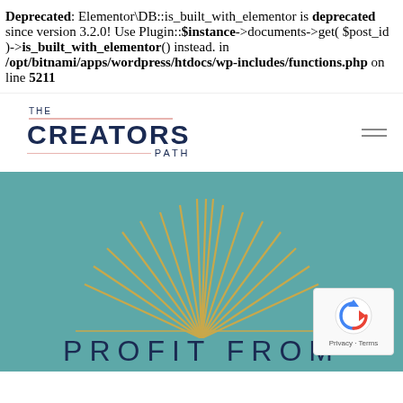Deprecated: Elementor\DB::is_built_with_elementor is deprecated since version 3.2.0! Use Plugin::$instance->documents->get( $post_id )->is_built_with_elementor() instead. in /opt/bitnami/apps/wordpress/htdocs/wp-includes/functions.php on line 5211
[Figure (logo): The Creators Path logo with decorative pink lines and navy blue text]
[Figure (illustration): Sunburst/ray graphic in gold/yellow on teal background above PROFIT FROM text]